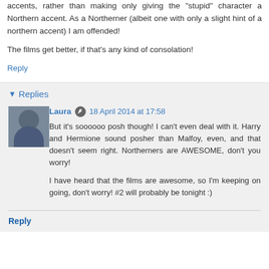But yeah, they could have mixed it up a bit with the accents, rather than making only giving the "stupid" character a Northern accent. As a Northerner (albeit one with only a slight hint of a northern accent) I am offended!
The films get better, if that's any kind of consolation!
Reply
Replies
Laura  18 April 2014 at 17:58
But it's soooooo posh though! I can't even deal with it. Harry and Hermione sound posher than Malfoy, even, and that doesn't seem right. Northerners are AWESOME, don't you worry!
I have heard that the films are awesome, so I'm keeping on going, don't worry! #2 will probably be tonight :)
Reply